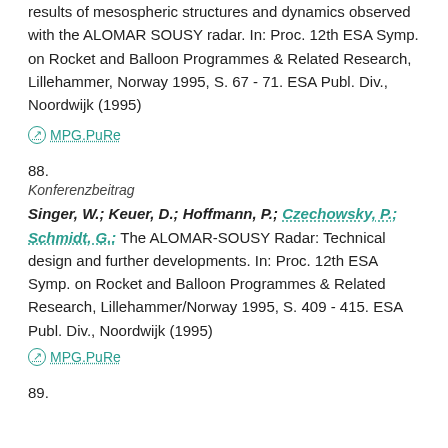results of mesospheric structures and dynamics observed with the ALOMAR SOUSY radar. In: Proc. 12th ESA Symp. on Rocket and Balloon Programmes & Related Research, Lillehammer, Norway 1995, S. 67 - 71. ESA Publ. Div., Noordwijk (1995)
MPG.PuRe
88.
Konferenzbeitrag
Singer, W.; Keuer, D.; Hoffmann, P.; Czechowsky, P.; Schmidt, G.: The ALOMAR-SOUSY Radar: Technical design and further developments. In: Proc. 12th ESA Symp. on Rocket and Balloon Programmes & Related Research, Lillehammer/Norway 1995, S. 409 - 415. ESA Publ. Div., Noordwijk (1995)
MPG.PuRe
89.